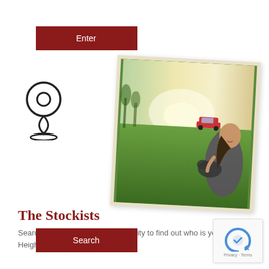[Figure (other): Dark red button labeled Enter]
[Figure (other): Location pin map marker icon, outline style]
[Figure (photo): Photo of a woman sitting in a green field with a dog, vehicle in background, glowing sunset light, slightly tilted polaroid-style frame]
The Stockists
Search the Heights Farm community to find out who is your Heights Farm Distributor.
[Figure (other): Dark red button labeled Search]
[Figure (other): Google reCAPTCHA badge with Privacy · Terms text]